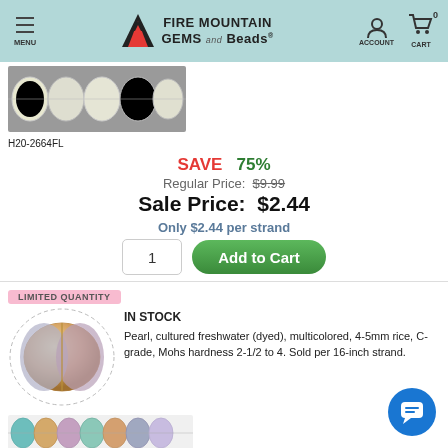Fire Mountain Gems and Beads — MENU | ACCOUNT | CART 0
[Figure (photo): Close-up photo of cream/white pearl rice beads on a strand against gray background]
H20-2664FL
SAVE 75%  Regular Price: $9.99  Sale Price: $2.44
Only $2.44 per strand
LIMITED QUANTITY
[Figure (photo): Oval close-up of multicolored (peach, lavender, gray) cultured freshwater pearl rice bead]
IN STOCK
Pearl, cultured freshwater (dyed), multicolored, 4-5mm rice, C- grade, Mohs hardness 2-1/2 to 4. Sold per 16-inch strand.
[Figure (photo): Strand of multicolored freshwater pearl rice beads (teal, peach, gold, gray colors) at bottom of page]